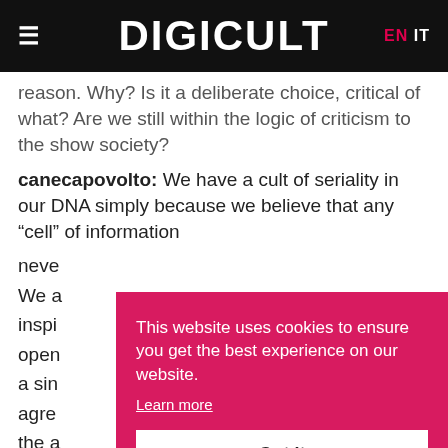DIGICULT   EN  IT
reason. Why? Is it a deliberate choice, critical of what? Are we still within the logic of criticism to the show society?
canecapovolto: We have a cult of seriality in our DNA simply because we believe that any “cell” of information
neve…
We a…
inspir…
open…
a sin…
agre…
the a…
that, some sound works designed for a random
This website uses cookies to ensure you get the best experience on our website.
Learn more
Got it